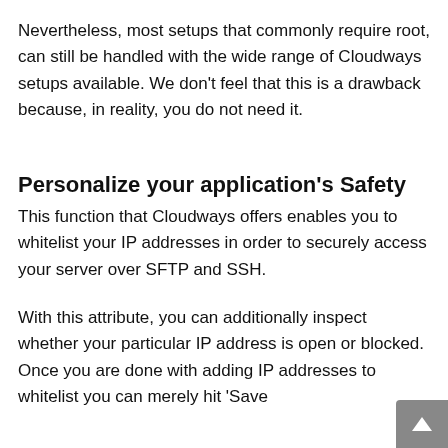Nevertheless, most setups that commonly require root, can still be handled with the wide range of Cloudways setups available. We don't feel that this is a drawback because, in reality, you do not need it.
Personalize your application's Safety
This function that Cloudways offers enables you to whitelist your IP addresses in order to securely access your server over SFTP and SSH.
With this attribute, you can additionally inspect whether your particular IP address is open or blocked. Once you are done with adding IP addresses to whitelist you can merely hit 'Save